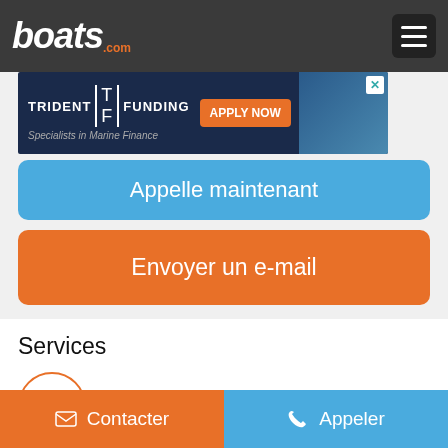boats.com
[Figure (screenshot): Trident Funding advertisement banner - Specialists in Marine Finance with APPLY NOW button and boat image]
Appelle maintenant
Envoyer un e-mail
Services
Assurance
Contacter
Appeler